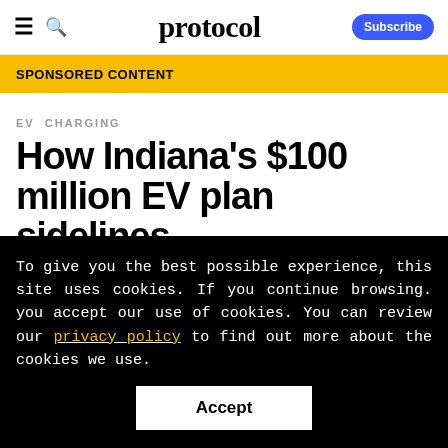protocol | Subscribe
SPONSORED CONTENT
EV CHARGING
How Indiana's $100 million EV plan sidelines
To give you the best possible experience, this site uses cookies. If you continue browsing. you accept our use of cookies. You can review our privacy policy to find out more about the cookies we use.
Accept